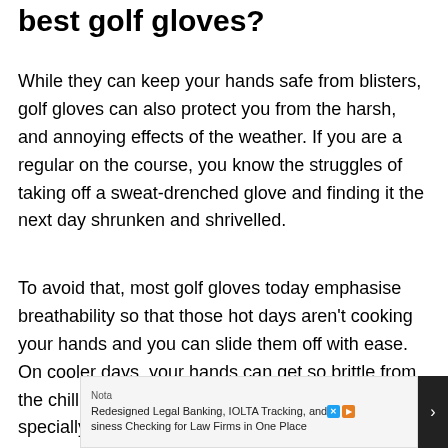best golf gloves?
While they can keep your hands safe from blisters, golf gloves can also protect you from the harsh, and annoying effects of the weather. If you are a regular on the course, you know the struggles of taking off a sweat-drenched glove and finding it the next day shrunken and shrivelled.
To avoid that, most golf gloves today emphasise breathability so that those hot days aren't cooking your hands and you can slide them off with ease. On cooler days, your hands can get so brittle from the chill, so some of the best golf gloves are specially designed...
[Figure (other): Advertisement overlay: Nota - Redesigned Legal Banking, IOLTA Tracking, and Business Checking for Law Firms in One Place]